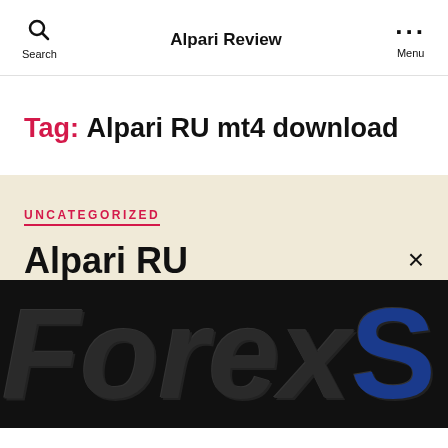Alpari Review
Tag: Alpari RU mt4 download
UNCATEGORIZED
Alpari RU
[Figure (screenshot): Partial view of a forex website logo showing 'ForexS' in large bold text, black and dark blue colors on a dark background]